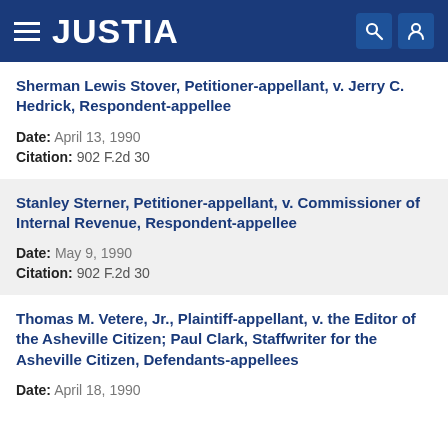JUSTIA
Sherman Lewis Stover, Petitioner-appellant, v. Jerry C. Hedrick, Respondent-appellee
Date: April 13, 1990
Citation: 902 F.2d 30
Stanley Sterner, Petitioner-appellant, v. Commissioner of Internal Revenue, Respondent-appellee
Date: May 9, 1990
Citation: 902 F.2d 30
Thomas M. Vetere, Jr., Plaintiff-appellant, v. the Editor of the Asheville Citizen; Paul Clark, Staffwriter for the Asheville Citizen, Defendants-appellees
Date: April 18, 1990